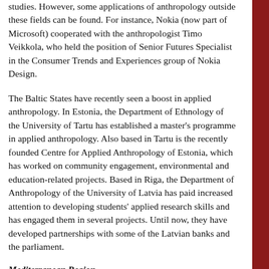studies. However, some applications of anthropology outside these fields can be found. For instance, Nokia (now part of Microsoft) cooperated with the anthropologist Timo Veikkola, who held the position of Senior Futures Specialist in the Consumer Trends and Experiences group of Nokia Design.
The Baltic States have recently seen a boost in applied anthropology. In Estonia, the Department of Ethnology of the University of Tartu has established a master's programme in applied anthropology. Also based in Tartu is the recently founded Centre for Applied Anthropology of Estonia, which has worked on community engagement, environmental and education-related projects. Based in Riga, the Department of Anthropology of the University of Latvia has paid increased attention to developing students' applied research skills and has engaged them in several projects. Until now, they have developed partnerships with some of the Latvian banks and the parliament.
Mediterranean Region
Apart from a few exceptions, the Mediterranean region, in which we include France, Italy, Spain and Portugal, is